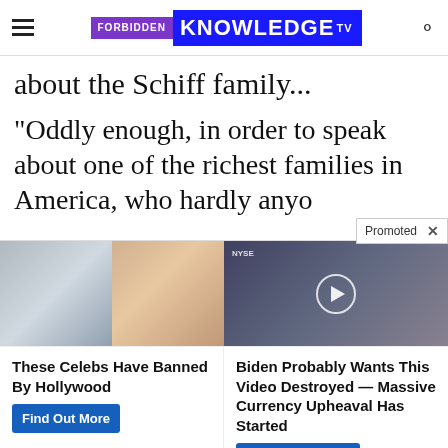FORBIDDEN KNOWLEDGE TV
about the Schiff family...
“Oddly enough, in order to speak about one of the richest families in America, who hardly anyo…s
[Figure (screenshot): Advertisement panel with two promoted content items: (1) celebrity photo collage with text 'These Celebs Have Banned By Hollywood' and 'Find Out More' button, (2) NYSE video thumbnail with text 'Biden Probably Wants This Video Destroyed — Massive Currency Upheaval Has Started' and 'Watch The Video' button. Promoted badge with X close button visible.]